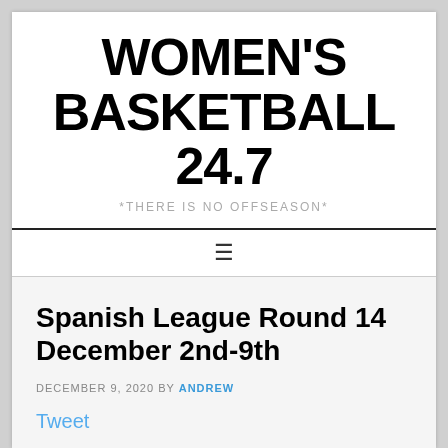WOMEN'S BASKETBALL 24.7
*THERE IS NO OFFSEASON*
Spanish League Round 14 December 2nd-9th
DECEMBER 9, 2020 BY ANDREW
Tweet
There was a makeup game from Round 11 last